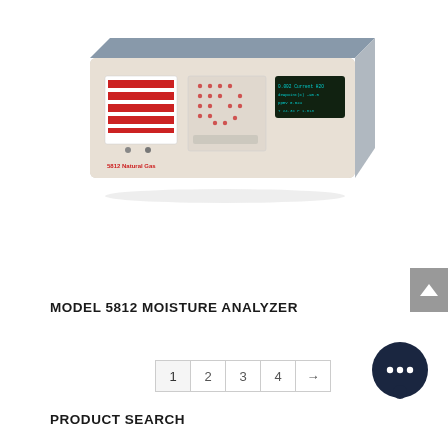[Figure (photo): Model 5812 Moisture Analyzer device — a rectangular instrument with a gray/beige case and blue top, featuring a red striped panel on the left front, a control panel with indicator lights in the center, and a blue LED display on the right. The front label reads '5812 Natural Gas'.]
MODEL 5812 MOISTURE ANALYZER
[Figure (other): Pagination control showing page buttons: 1 (active), 2, 3, 4, and a right arrow.]
[Figure (other): Dark navy circular chat/messaging icon with three dots inside a speech bubble.]
PRODUCT SEARCH